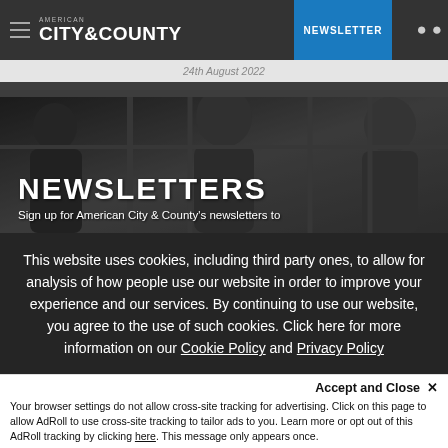AMERICAN CITY & COUNTY — NEWSLETTER
24th August 2022
[Figure (photo): Hero banner with people in background, overlaid with text: NEWSLETTERS and Sign up for American City & County's newsletters to]
NEWSLETTERS
Sign up for American City & County's newsletters to
This website uses cookies, including third party ones, to allow for analysis of how people use our website in order to improve your experience and our services. By continuing to use our website, you agree to the use of such cookies. Click here for more information on our Cookie Policy and Privacy Policy
Accept and Close ✕
Your browser settings do not allow cross-site tracking for advertising. Click on this page to allow AdRoll to use cross-site tracking to tailor ads to you. Learn more or opt out of this AdRoll tracking by clicking here. This message only appears once.